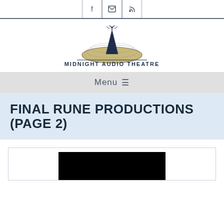Social icons: Facebook, Email, RSS
[Figure (logo): Midnight Audio Theatre logo with radio tower and text]
Menu ≡
FINAL RUNE PRODUCTIONS (PAGE 2)
[Figure (screenshot): Black video thumbnail embedded in post box]